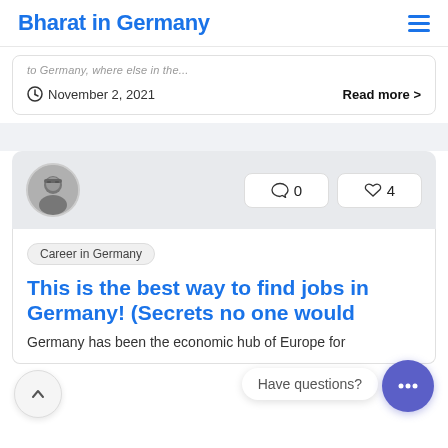Bharat in Germany
to Germany, where else in the...
November 2, 2021    Read more >
[Figure (photo): Author avatar - black and white photo of person with glasses]
0   4
Career in Germany
This is the best way to find jobs in Germany! (Secrets no one would tell you)
Germany has been the economic hub of Europe for
Have questions?